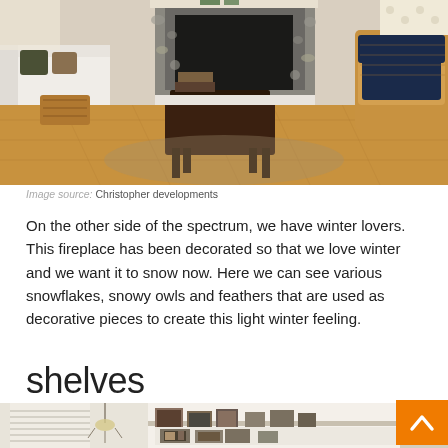[Figure (photo): Interior living room with hardwood floors, a stone fireplace, wicker armchair with dark cushion, white sofa with decorative pillows, wooden coffee table with stool, and decorative items on the mantel.]
Image source: Christopher developments
On the other side of the spectrum, we have winter lovers. This fireplace has been decorated so that we love winter and we want it to snow now. Here we can see various snowflakes, snowy owls and feathers that are used as decorative pieces to create this light winter feeling.
shelves
[Figure (photo): Partial view of shelves on a wall with framed photos displayed on a ledge shelf and decorative items, partially visible at bottom of page.]